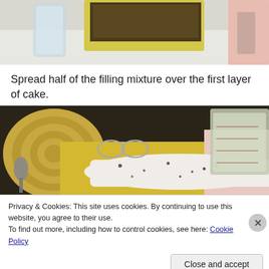[Figure (photo): Photo of a cake layer on a yellow cutting board with a glass and pink background, partially cropped at top]
Spread half of the filling mixture over the first layer of cake.
[Figure (photo): Photo of cream cheese filling spread on a cake layer, with a measuring cup, spoon, and woven placemat visible]
Privacy & Cookies: This site uses cookies. By continuing to use this website, you agree to their use.
To find out more, including how to control cookies, see here: Cookie Policy
Close and accept